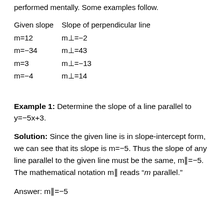performed mentally. Some examples follow.
| Given slope | Slope of perpendicular line |
| --- | --- |
| m=12 | m⊥=−2 |
| m=−34 | m⊥=43 |
| m=3 | m⊥=−13 |
| m=−4 | m⊥=14 |
Example 1: Determine the slope of a line parallel to y=−5x+3.
Solution: Since the given line is in slope-intercept form, we can see that its slope is m=−5. Thus the slope of any line parallel to the given line must be the same, m∥=−5. The mathematical notation m∥ reads "m parallel."
Answer: m∥=−5